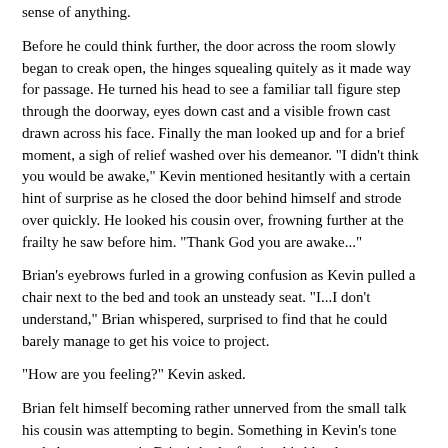sense of anything.
Before he could think further, the door across the room slowly began to creak open, the hinges squealing quitely as it made way for passage. He turned his head to see a familiar tall figure step through the doorway, eyes down cast and a visible frown cast drawn across his face. Finally the man looked up and for a brief moment, a sigh of relief washed over his demeanor. "I didn't think you would be awake," Kevin mentioned hesitantly with a certain hint of surprise as he closed the door behind himself and strode over quickly. He looked his cousin over, frowning further at the frailty he saw before him. "Thank God you are awake..."
Brian's eyebrows furled in a growing confusion as Kevin pulled a chair next to the bed and took an unsteady seat. "I...I don't understand," Brian whispered, surprised to find that he could barely manage to get his voice to project.
"How are you feeling?" Kevin asked.
Brian felt himself becoming rather unnerved from the small talk his cousin was attempting to begin. Something in Kevin's tone rattled every nerve in Brian's body, forcing his blood to run somewhat cold through constricted veins. "Tired...my whole...body is aching. what happened?"